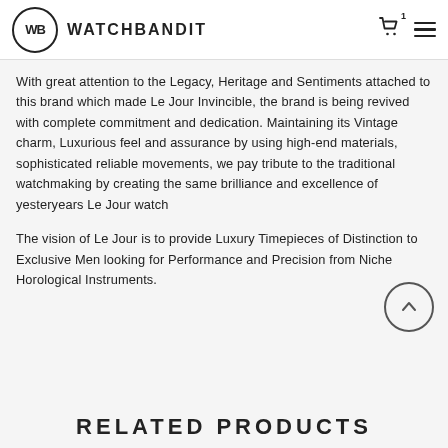WB WATCHBANDIT
With great attention to the Legacy, Heritage and Sentiments attached to this brand which made Le Jour Invincible, the brand is being revived with complete commitment and dedication. Maintaining its Vintage charm, Luxurious feel and assurance by using high-end materials, sophisticated reliable movements, we pay tribute to the traditional watchmaking by creating the same brilliance and excellence of yesteryears Le Jour watch
The vision of Le Jour is to provide Luxury Timepieces of Distinction to Exclusive Men looking for Performance and Precision from Niche Horological Instruments.
RELATED PRODUCTS